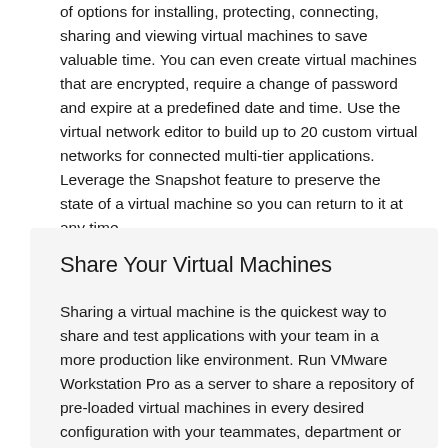of options for installing, protecting, connecting, sharing and viewing virtual machines to save valuable time. You can even create virtual machines that are encrypted, require a change of password and expire at a predefined date and time. Use the virtual network editor to build up to 20 custom virtual networks for connected multi-tier applications. Leverage the Snapshot feature to preserve the state of a virtual machine so you can return to it at any time.
Share Your Virtual Machines
Sharing a virtual machine is the quickest way to share and test applications with your team in a more production like environment. Run VMware Workstation Pro as a server to share a repository of pre-loaded virtual machines in every desired configuration with your teammates, department or organization.